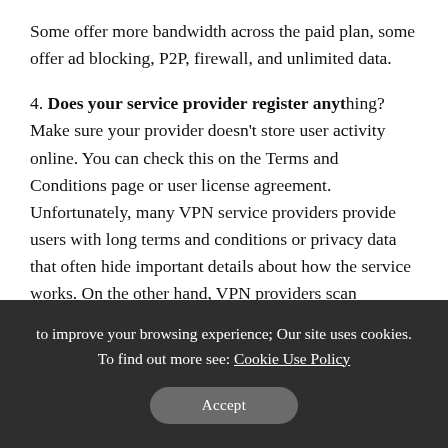Some offer more bandwidth across the paid plan, some offer ad blocking, P2P, firewall, and unlimited data.
4. Does your service provider register anything? Make sure your provider doesn't store user activity online. You can check this on the Terms and Conditions page or user license agreement. Unfortunately, many VPN service providers provide users with long terms and conditions or privacy data that often hide important details about how the service works. On the other hand, VPN providers scan everything about your communication through them after you close the connection and don't keep records.
to improve your browsing experience; Our site uses cookies. To find out more see: Cookie Use Policy
Accept